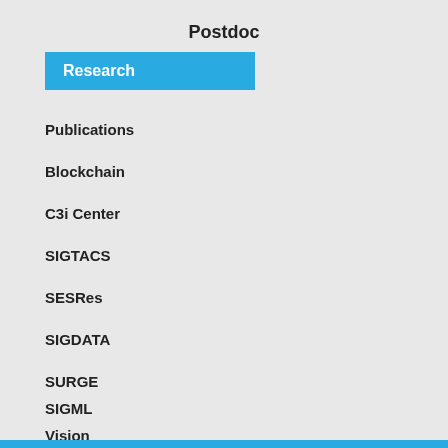Postdoc
Research
Publications
Blockchain
C3i Center
SIGTACS
SESRes
SIGDATA
SURGE
SIGML
Vision